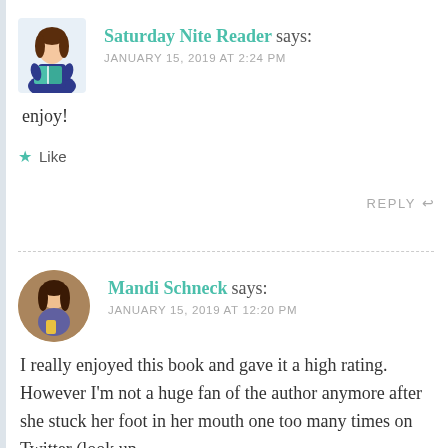Saturday Nite Reader says: JANUARY 15, 2019 AT 2:24 PM
enjoy!
Like
REPLY
Mandi Schneck says: JANUARY 15, 2019 AT 12:20 PM
I really enjoyed this book and gave it a high rating. However I'm not a huge fan of the author anymore after she stuck her foot in her mouth one too many times on Twitter (look up